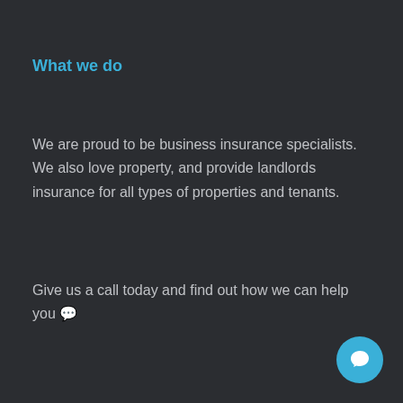What we do
We are proud to be business insurance specialists. We also love property, and provide landlords insurance for all types of properties and tenants.
Give us a call today and find out how we can help you 🙂